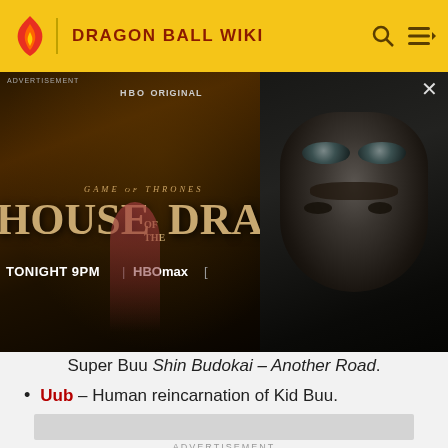DRAGON BALL WIKI
[Figure (screenshot): Advertisement banner for HBO Original 'House of the Dragon' showing show title text and a dragon creature on the right side. Text reads: ADVERTISEMENT, HBO ORIGINAL, GAME OF THRONES HOUSE OF THE DRA[GON], TONIGHT 9PM | HBOmax]
Super Buu Shin Budokai - Another Road.
Uub – Human reincarnation of Kid Buu.
[Figure (other): Advertisement placeholder box (light gray rectangle)]
ADVERTISEMENT